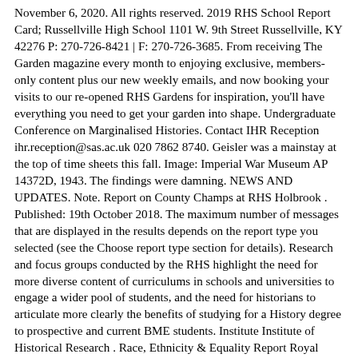November 6, 2020. All rights reserved. 2019 RHS School Report Card; Russellville High School 1101 W. 9th Street Russellville, KY 42276 P: 270-726-8421 | F: 270-726-3685. From receiving The Garden magazine every month to enjoying exclusive, members-only content plus our new weekly emails, and now booking your visits to our re-opened RHS Gardens for inspiration, you'll have everything you need to get your garden into shape. Undergraduate Conference on Marginalised Histories. Contact IHR Reception ihr.reception@sas.ac.uk 020 7862 8740. Geisler was a mainstay at the top of time sheets this fall. Image: Imperial War Museum AP 14372D, 1943. The findings were damning. NEWS AND UPDATES. Note. Report on County Champs at RHS Holbrook . Published: 19th October 2018. The maximum number of messages that are displayed in the results depends on the report type you selected (see the Choose report type section for details). Research and focus groups conducted by the RHS highlight the need for more diverse content of curriculums in schools and universities to engage a wider pool of students, and the need for historians to articulate more clearly the benefits of studying for a History degree to prospective and current BME students. Institute Institute of Historical Research . Race, Ethnicity & Equality Report Royal Historical Society report highlights need for greater diversity in UK History A new report published today (18 October 2018) by the Royal Historical Society (RHS) highlights racial and ethnic inequalities in the teaching and practice of History in the UK. Twitter. The RHS junior was unquestionably the top dog on